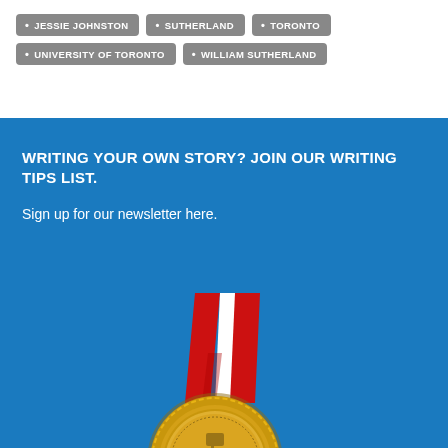JESSIE JOHNSTON
SUTHERLAND
TORONTO
UNIVERSITY OF TORONTO
WILLIAM SUTHERLAND
WRITING YOUR OWN STORY? JOIN OUR WRITING TIPS LIST.
Sign up for our newsletter here.
[Figure (illustration): Gold medal with red and white ribbon awarded Top 100 Genealogy Blog]